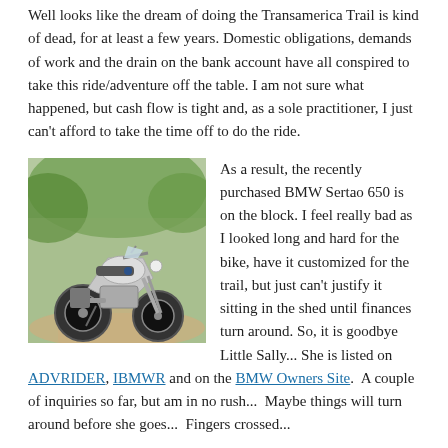Well looks like the dream of doing the Transamerica Trail is kind of dead, for at least a few years.  Domestic obligations, demands of work and the drain on the bank account have all conspired to  take this ride/adventure off the table.  I am not sure what happened, but cash flow is tight and, as a sole practitioner, I just can't afford to take the time off to do the ride.
[Figure (photo): A BMW Sertao 650 motorcycle parked on a dirt/gravel path surrounded by green trees and foliage.]
As a result, the recently purchased BMW Sertao 650 is on the block.  I feel really bad as I looked long and hard for the bike, have it customized for the trail, but just can't justify it sitting in the shed until finances turn around.  So, it is goodbye Little Sally...  She is listed on ADVRIDER, IBMWR and on the BMW Owners Site.  A couple of inquiries so far, but am in no rush...  Maybe things will turn around before she goes...  Fingers crossed...